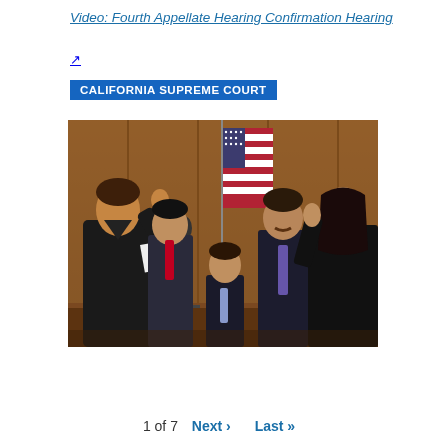Video: Fourth Appellate Hearing Confirmation Hearing ↗
CALIFORNIA SUPREME COURT
[Figure (photo): A swearing-in ceremony in a courtroom setting with a judge administering an oath. A woman in black is raising her right hand, flanked by a man and a young boy in suits, with an American flag in the background.]
1 of 7   Next ›   Last »